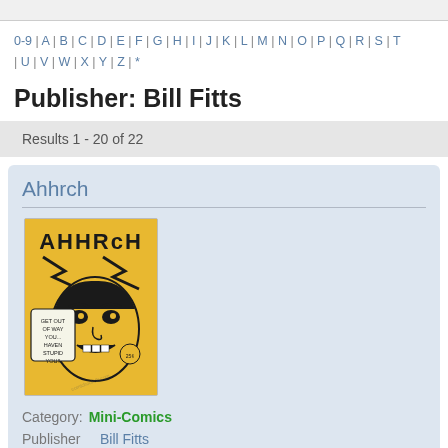0-9 | A | B | C | D | E | F | G | H | I | J | K | L | M | N | O | P | Q | R | S | T | U | V | W | X | Y | Z | *
Publisher: Bill Fitts
Results 1 - 20 of 22
Ahhrch
[Figure (photo): Comic book cover of 'Ahhrch' — yellow/orange background with black cartoon illustration of an angry face. Text reads 'AHHRCH' at top and 'GET OUT OF WAY YOU... HAVEN STUPID YOU!!' in a speech bubble.]
Category: Mini-Comics
Publisher  Bill Fitts
Country  USA